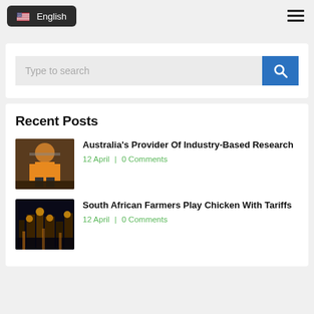English (language selector with US flag and hamburger menu)
[Figure (screenshot): Search bar with 'Type to search' placeholder and blue search button with magnifying glass icon]
Recent Posts
[Figure (photo): Worker in orange clothing, industrial setting]
Australia's Provider Of Industry-Based Research
12 April | 0 Comments
[Figure (photo): Nighttime industrial facility with golden lights]
South African Farmers Play Chicken With Tariffs
12 April | 0 Comments